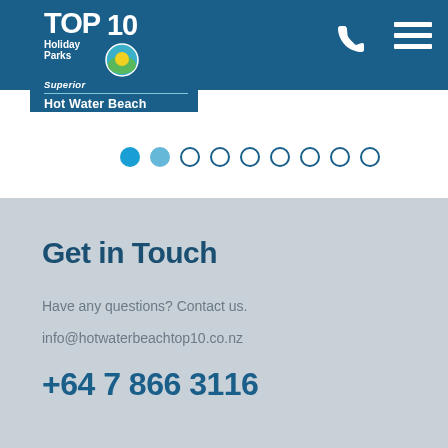[Figure (logo): TOP 10 Holiday Parks Superior logo with circular sunrise emblem, subtitle 'Hot Water Beach']
TOP 10 Holiday Parks Superior — Hot Water Beach (navigation header with phone and menu icons)
[Figure (other): Slider navigation dots row — one active blue dot and several outline dots]
Get in Touch
Have any questions? Contact us.
info@hotwaterbeachtop10.co.nz
+64 7 866 3116